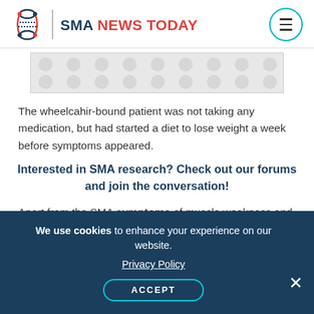SMA NEWS TODAY
[Figure (illustration): Decorative banner with circular dot pattern on grey background]
The wheelcahir-bound patient was not taking any medication, but had started a diet to lose weight a week before symptoms appeared.
Interested in SMA research? Check out our forums and join the conversation!
Apart from the SMA symptoms of muscle weakness and atrophy (muscle wasting) his physical examinations revealed no further
We use cookies to enhance your experience on our website. Privacy Policy ACCEPT